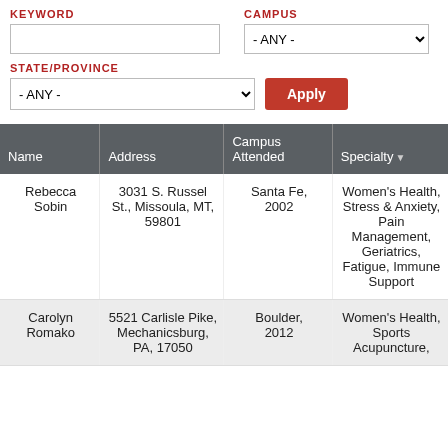KEYWORD
CAMPUS
STATE/PROVINCE
| Name | Address | Campus Attended | Specialty |
| --- | --- | --- | --- |
| Rebecca Sobin | 3031 S. Russel St., Missoula, MT, 59801 | Santa Fe, 2002 | Women's Health, Stress & Anxiety, Pain Management, Geriatrics, Fatigue, Immune Support |
| Carolyn Romako | 5521 Carlisle Pike, Mechanicsburg, PA, 17050 | Boulder, 2012 | Women's Health, Sports Acupuncture, ... |